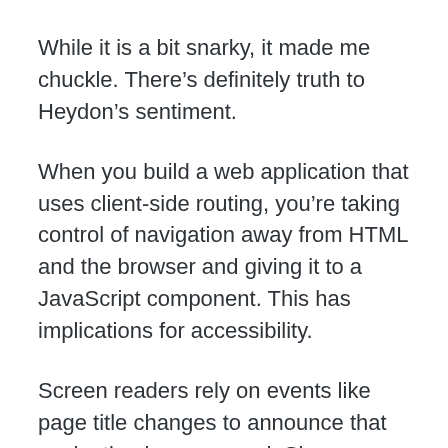While it is a bit snarky, it made me chuckle. There's definitely truth to Heydon's sentiment.
When you build a web application that uses client-side routing, you're taking control of navigation away from HTML and the browser and giving it to a JavaScript component. This has implications for accessibility.
Screen readers rely on events like page title changes to announce that navigation has occurred. Since a JavaScript-rendered page change won't refresh like a traditional HTML page, screen readers won't automatically read